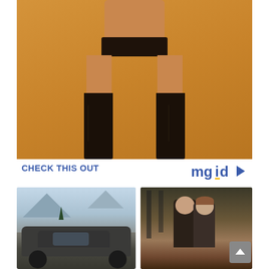[Figure (photo): Photo of a person's lower body wearing black leather thigh-high boots and a dark bikini/belt, standing against an orange/tan background]
CHECK THIS OUT
[Figure (logo): mgid logo with play button icon]
[Figure (photo): Thumbnail photo of a dark sports car (muscle car) in a snowy mountain setting]
[Figure (photo): Thumbnail photo of two people (man and woman) in an embrace, resembling the movie Titanic]